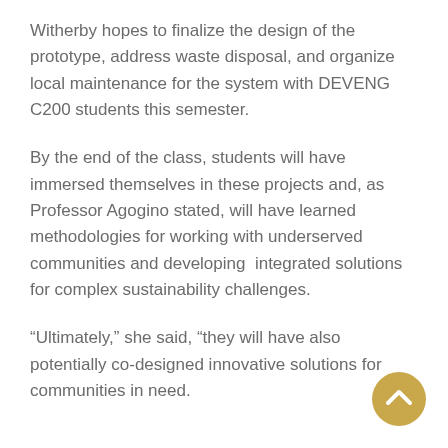Witherby hopes to finalize the design of the prototype, address waste disposal, and organize local maintenance for the system with DEVENG C200 students this semester.
By the end of the class, students will have immersed themselves in these projects and, as Professor Agogino stated, will have learned methodologies for working with underserved communities and developing  integrated solutions for complex sustainability challenges.
“Ultimately,” she said, “they will have also potentially co-designed innovative solutions for communities in need.
[Figure (other): Gold circular scroll-to-top button with white upward chevron arrow, positioned at bottom right of the page.]